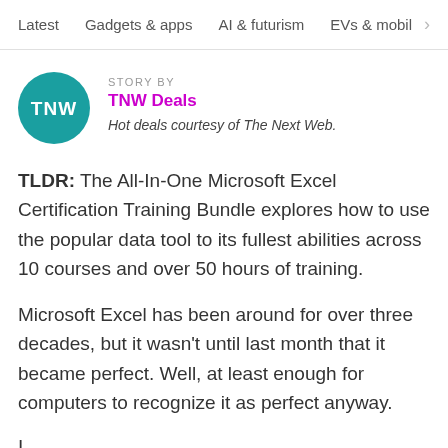Latest   Gadgets & apps   AI & futurism   EVs & mobil >
[Figure (logo): TNW circular teal logo with 'TNW' text in white]
STORY BY
TNW Deals
Hot deals courtesy of The Next Web.
TLDR: The All-In-One Microsoft Excel Certification Training Bundle explores how to use the popular data tool to its fullest abilities across 10 courses and over 50 hours of training.
Microsoft Excel has been around for over three decades, but it wasn't until last month that it became perfect. Well, at least enough for computers to recognize it as perfect anyway.
...